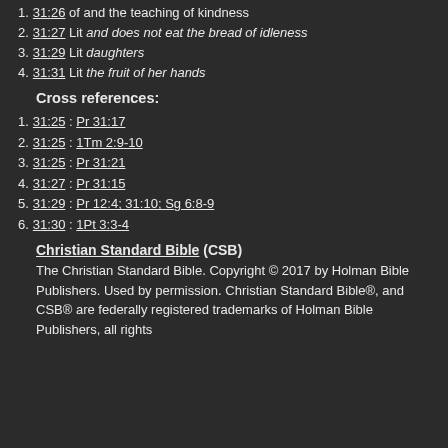1. 31:26 of and the teaching of kindness
2. 31:27 Lit and does not eat the bread of idleness
3. 31:29 Lit daughters
4. 31:31 Lit the fruit of her hands
Cross references:
1. 31:25 : Pr 31:17
2. 31:25 : 1Tm 2:9-10
3. 31:25 : Pr 31:21
4. 31:27 : Pr 31:15
5. 31:29 : Pr 12:4; 31:10; Sg 6:8-9
6. 31:30 : 1Pt 3:3-4
Christian Standard Bible (CSB)
The Christian Standard Bible. Copyright © 2017 by Holman Bible Publishers. Used by permission. Christian Standard Bible®, and CSB® are federally registered trademarks of Holman Bible Publishers, all rights